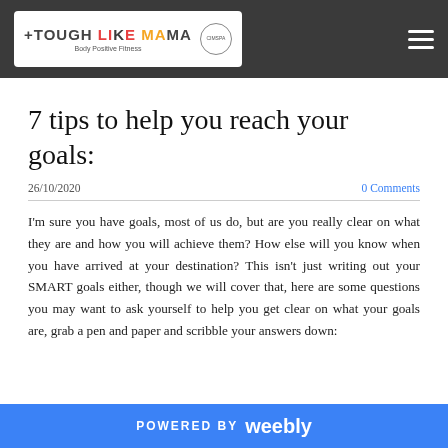TOUGH LIKE MAMA — Body Positive Fitness
7 tips to help you reach your goals:
26/10/2020
0 Comments
I'm sure you have goals, most of us do, but are you really clear on what they are and how you will achieve them? How else will you know when you have arrived at your destination? This isn't just writing out your SMART goals either, though we will cover that, here are some questions you may want to ask yourself to help you get clear on what your goals are, grab a pen and paper and scribble your answers down:
POWERED BY weebly